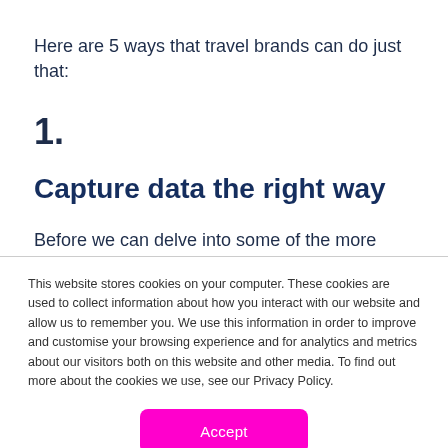Here are 5 ways that travel brands can do just that:
1.
Capture data the right way
Before we can delve into some of the more
This website stores cookies on your computer. These cookies are used to collect information about how you interact with our website and allow us to remember you. We use this information in order to improve and customise your browsing experience and for analytics and metrics about our visitors both on this website and other media. To find out more about the cookies we use, see our Privacy Policy.
Accept